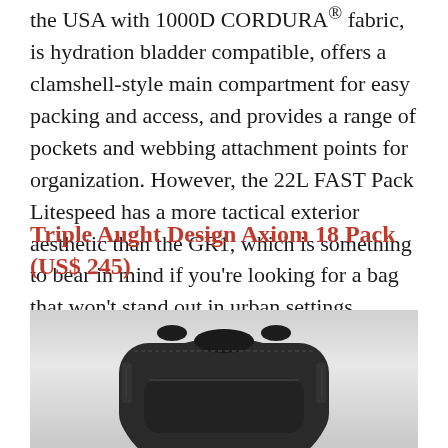the USA with 1000D CORDURA® fabric, is hydration bladder compatible, offers a clamshell-style main compartment for easy packing and access, and provides a range of pockets and webbing attachment points for organization. However, the 22L FAST Pack Litespeed has a more tactical exterior aesthetic than the GR1, which is something to bear in mind if you're looking for a bag that won't stand out in urban settings.
Triple Aught Design Axiom 18 Pack (US$ 245)
[Figure (photo): Black tactical backpack photographed against a light gray gradient background, showing front and side profile view of the Triple Aught Design Axiom 18 Pack.]